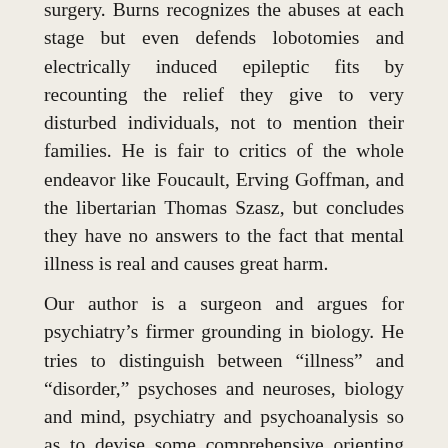surgery. Burns recognizes the abuses at each stage but even defends lobotomies and electrically induced epileptic fits by recounting the relief they give to very disturbed individuals, not to mention their families. He is fair to critics of the whole endeavor like Foucault, Erving Goffman, and the libertarian Thomas Szasz, but concludes they have no answers to the fact that mental illness is real and causes great harm.
Our author is a surgeon and argues for psychiatry's firmer grounding in biology. He tries to distinguish between “illness” and “disorder,” psychoses and neuroses, biology and mind, psychiatry and psychoanalysis so as to devise some comprehensive orienting theme for his discipline. But he finally concludes that one can make legal but not medical distinctions, since